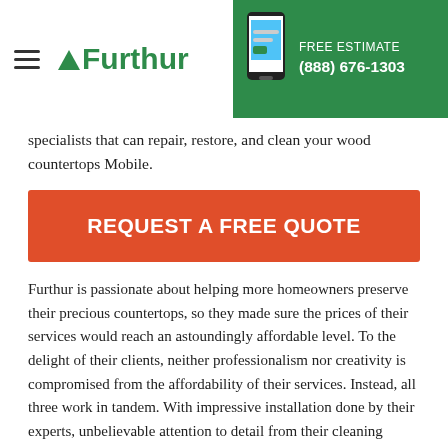Furthur | FREE ESTIMATE (888) 676-1303
specialists that can repair, restore, and clean your wood countertops Mobile.
REQUEST A FREE QUOTE
Furthur is passionate about helping more homeowners preserve their precious countertops, so they made sure the prices of their services would reach an astoundingly affordable level. To the delight of their clients, neither professionalism nor creativity is compromised from the affordability of their services. Instead, all three work in tandem. With impressive installation done by their experts, unbelievable attention to detail from their cleaning specialists, and a wallet-friendly price range, anyone would wonder how it was made possible.
With true passion and love for providing only the best Mobile